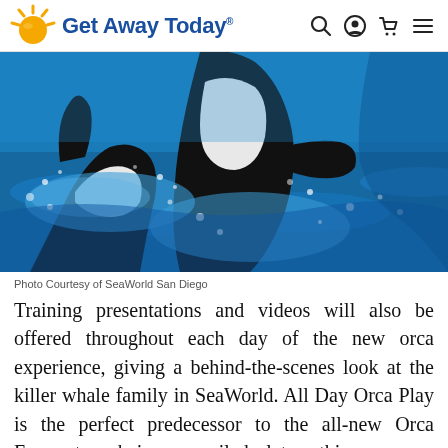Get Away Today
[Figure (photo): Close-up photo of an orca (killer whale) partially emerging from blue water at SeaWorld San Diego, showing black and white coloring with water splashing around it.]
Photo Courtesy of SeaWorld San Diego
Training presentations and videos will also be offered throughout each day of the new orca experience, giving a behind-the-scenes look at the killer whale family in SeaWorld. All Day Orca Play is the perfect predecessor to the all-new Orca Encounter, being unveiled later this summer. SeaWorld hopes to ignite not just a